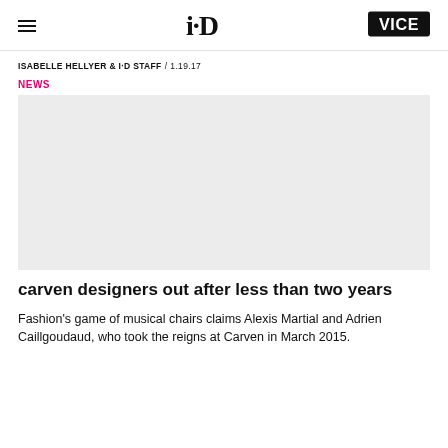i-D / VICE
ISABELLE HELLYER & I-D STAFF / 1.19.17
NEWS
[Figure (photo): Gray placeholder image for article photo]
carven designers out after less than two years
Fashion's game of musical chairs claims Alexis Martial and Adrien Caillgoudaud, who took the reigns at Carven in March 2015.